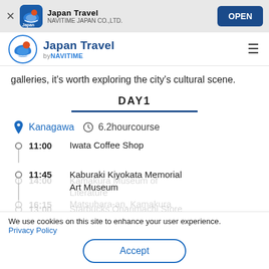Japan Travel — NAVITIME JAPAN CO.,LTD. — OPEN
[Figure (logo): Japan Travel by NAVITIME logo with navigation menu icon]
galleries, it's worth exploring the city's cultural scene.
DAY1
Kanagawa  6.2hourcourse
11:00  Iwata Coffee Shop
11:45  Kaburaki Kiyokata Memorial Art Museum
13:00  Starbucks Onarimachi Store
14:00  Kamakura Museum of Literature
16:15  Matsubara-an, Kamakura
We use cookies on this site to enhance your user experience. Privacy Policy  Accept